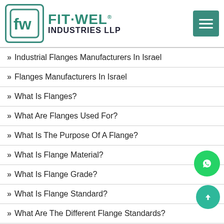[Figure (logo): Fit-Wel Industries LLP logo with teal bordered box containing fw emblem and company name text]
» Industrial Flanges Manufacturers In Israel
» Flanges Manufacturers In Israel
» What Is Flanges?
» What Are Flanges Used For?
» What Is The Purpose Of A Flange?
» What Is Flange Material?
» What Is Flange Grade?
» What Is Flange Standard?
» What Are The Different Flange Standards?
» What Is 150 Flange Pressure Rating?